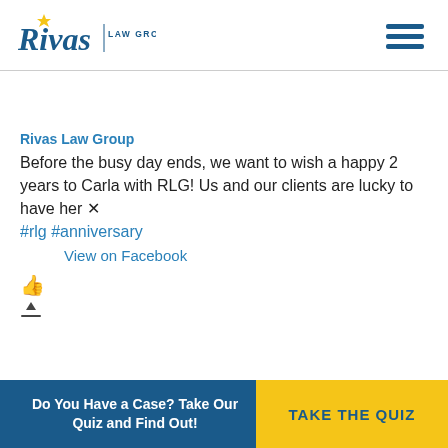Rivas LAW GROUP.COM
Rivas Law Group
Before the busy day ends, we want to wish a happy 2 years to Carla with RLG! Us and our clients are lucky to have her 🐾 #rlg #anniversary
   View on Facebook
Do You Have a Case? Take Our Quiz and Find Out! | TAKE THE QUIZ